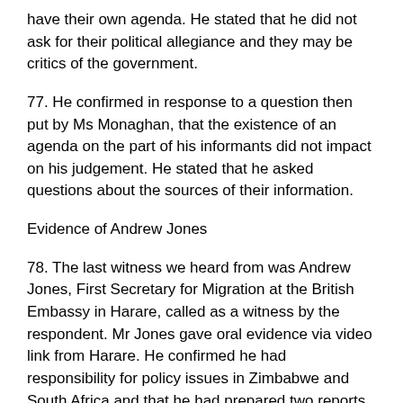have their own agenda. He stated that he did not ask for their political allegiance and they may be critics of the government.
77. He confirmed in response to a question then put by Ms Monaghan, that the existence of an agenda on the part of his informants did not impact on his judgement. He stated that he asked questions about the sources of their information.
Evidence of Andrew Jones
78. The last witness we heard from was Andrew Jones, First Secretary for Migration at the British Embassy in Harare, called as a witness by the respondent. Mr Jones gave oral evidence via video link from Harare. He confirmed he had responsibility for policy issues in Zimbabwe and South Africa and that he had prepared two reports, both of which he relied upon. He agreed that he had no direct